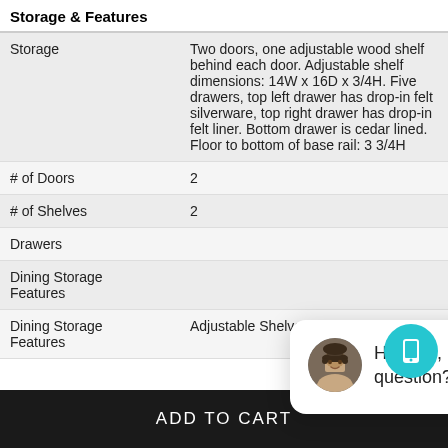Storage & Features
|  |  |
| --- | --- |
| Storage | Two doors, one adjustable wood shelf behind each door. Adjustable shelf dimensions: 14W x 16D x 3/4H. Five drawers, top left drawer has drop-in felt silverware, top right drawer has drop-in felt liner. Bottom drawer is cedar lined. Floor to bottom of base rail: 3 3/4H |
| # of Doors | 2 |
| # of Shelves | 2 |
| Drawers |  |
| Dining Storage Features |  |
| Dining Storage Features | Adjustable Shelves |
[Figure (screenshot): Chat popup with avatar photo and text: Hi there, have a question? Text us here! with a close button and teal phone icon button]
ADD TO CART